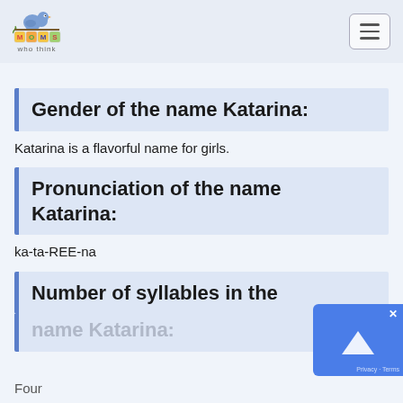Moms Who Think
Gender of the name Katarina:
Katarina is a flavorful name for girls.
Pronunciation of the name Katarina:
ka-ta-REE-na
Number of syllables in the name Katarina:
Four